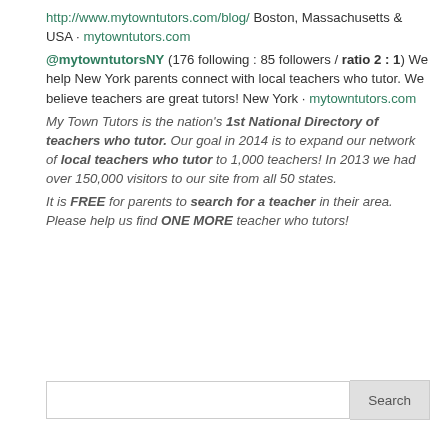http://www.mytowntutors.com/blog/ Boston, Massachusetts & USA · mytowntutors.com
@mytowntutorsNY (176 following : 85 followers / ratio 2 : 1) We help New York parents connect with local teachers who tutor. We believe teachers are great tutors! New York · mytowntutors.com
My Town Tutors is the nation's 1st National Directory of teachers who tutor. Our goal in 2014 is to expand our network of local teachers who tutor to 1,000 teachers! In 2013 we had over 150,000 visitors to our site from all 50 states.
It is FREE for parents to search for a teacher in their area. Please help us find ONE MORE teacher who tutors!